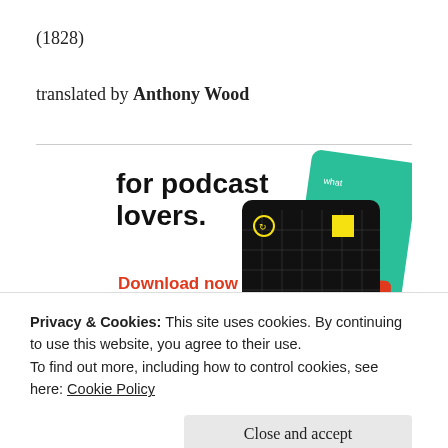(1828)
translated by Anthony Wood
[Figure (illustration): Advertisement for a podcast app showing 'for podcast lovers.' text with 'Download now' in red, alongside images of podcast app cards including one labeled '99% INVISIBLE']
Privacy & Cookies: This site uses cookies. By continuing to use this website, you agree to their use.
To find out more, including how to control cookies, see here: Cookie Policy
Close and accept